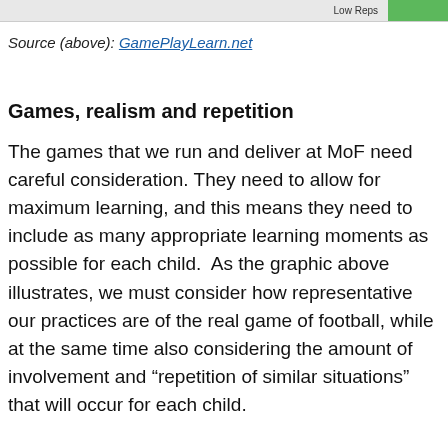[Figure (screenshot): Partial screenshot showing 'Low Reps' label and a green bar element at the top of the page]
Source (above): GamePlayLearn.net
Games, realism and repetition
The games that we run and deliver at MoF need careful consideration. They need to allow for maximum learning, and this means they need to include as many appropriate learning moments as possible for each child.  As the graphic above illustrates, we must consider how representative our practices are of the real game of football, while at the same time also considering the amount of involvement and "repetition of similar situations" that will occur for each child.